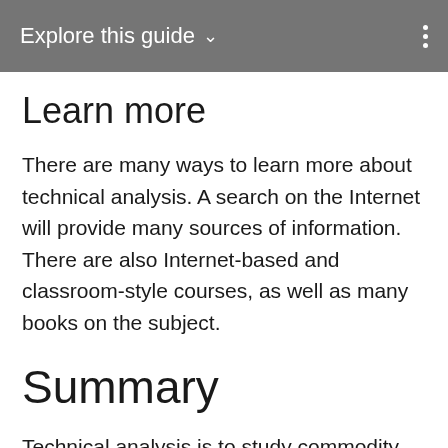Explore this guide ∨
Learn more
There are many ways to learn more about technical analysis. A search on the Internet will provide many sources of information. There are also Internet-based and classroom-style courses, as well as many books on the subject.
Summary
Technical analysis is to study commodity markets. There are many analysis techniques, each with their own supporters and their own degree of success. With practice and dedication, producers will find